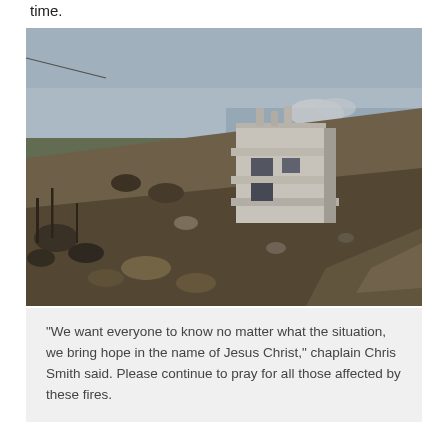time.
[Figure (photo): A hillside with scorched vegetation and bare burned trees. A white multi-story building with balconies sits at the top of the hill. The sky is hazy blue with distant mountains or sea visible in the background. The landscape shows clear evidence of wildfire damage.]
“We want everyone to know no matter what the situation, we bring hope in the name of Jesus Christ,” chaplain Chris Smith said. Please continue to pray for all those affected by these fires.